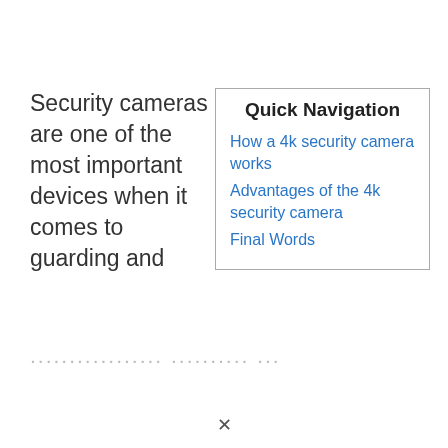Security cameras are one of the most important devices when it comes to guarding and
Quick Navigation
How a 4k security camera works
Advantages of the 4k security camera
Final Words